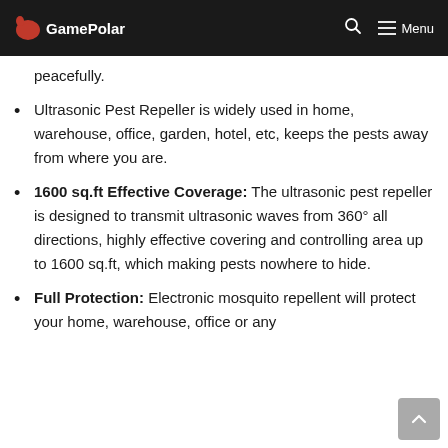GamePolar
peacefully.
Ultrasonic Pest Repeller is widely used in home, warehouse, office, garden, hotel, etc, keeps the pests away from where you are.
1600 sq.ft Effective Coverage: The ultrasonic pest repeller is designed to transmit ultrasonic waves from 360° all directions, highly effective covering and controlling area up to 1600 sq.ft, which making pests nowhere to hide.
Full Protection: Electronic mosquito repellent will protect your home, warehouse, office or any